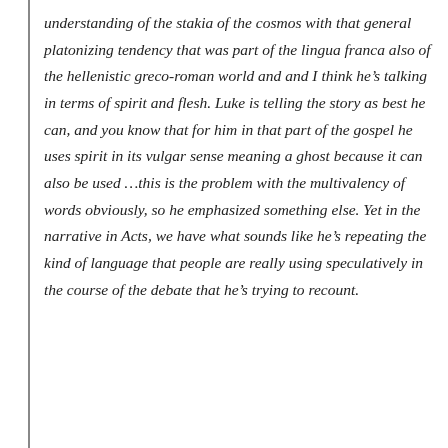understanding of the stakia of the cosmos with that general platonizing tendency that was part of the lingua franca also of the hellenistic greco-roman world and and I think he's talking in terms of spirit and flesh. Luke is telling the story as best he can, and you know that for him in that part of the gospel he uses spirit in its vulgar sense meaning a ghost because it can also be used …this is the problem with the multivalency of words obviously, so he emphasized something else. Yet in the narrative in Acts, we have what sounds like he's repeating the kind of language that people are really using speculatively in the course of the debate that he's trying to recount.